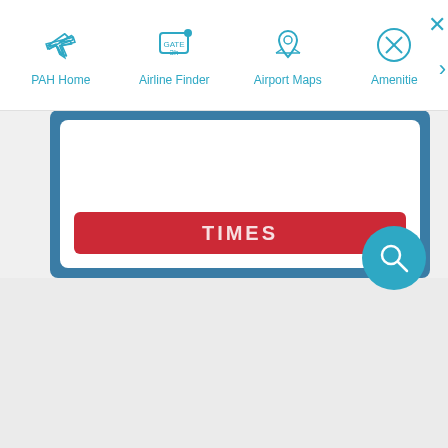PAH Home | Airline Finder | Airport Maps | Amenities
[Figure (screenshot): Navigation bar with icons: airplane (PAH Home), gate sign (Airline Finder), map pin (Airport Maps), fork-and-knife cross (Amenities), close X and arrow buttons]
[Figure (screenshot): Blue card area containing white card with red TIMES button]
[Figure (screenshot): Teal circular search/magnifying glass button in bottom right area]